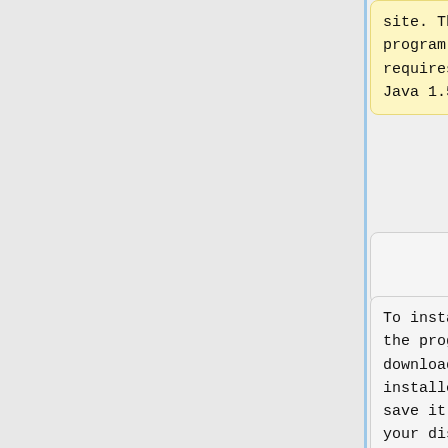site. The program requires Java 1.5.
site. The program requires Java 1.5.
To install the program, download the installer, save it on your disk and run it. The installer will create a directory called <b>ManifestGenerator</b> wherever you
To install the program, download the installer, save it on your disk and run it. The installer will create a directory called <b>ManifestGenerator</b> wherever you